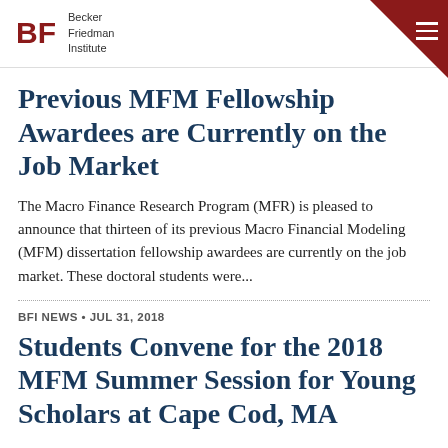Becker Friedman Institute
Previous MFM Fellowship Awardees are Currently on the Job Market
The Macro Finance Research Program (MFR) is pleased to announce that thirteen of its previous Macro Financial Modeling (MFM) dissertation fellowship awardees are currently on the job market. These doctoral students were...
BFI NEWS · JUL 31, 2018
Students Convene for the 2018 MFM Summer Session for Young Scholars at Cape Cod, MA